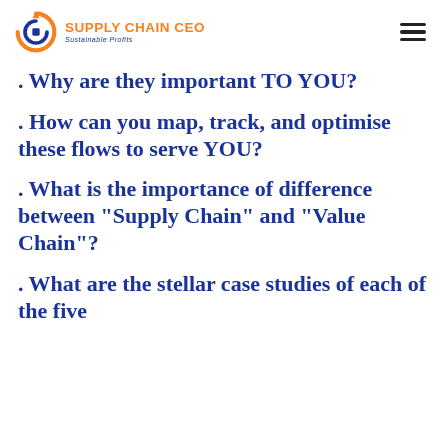SUPPLY CHAIN CEO Sustainable Profits
. Why are they important TO YOU?
. How can you map, track, and optimise these flows to serve YOU?
. What is the importance of difference between "Supply Chain" and "Value Chain"?
. What are the stellar case studies of each of the five